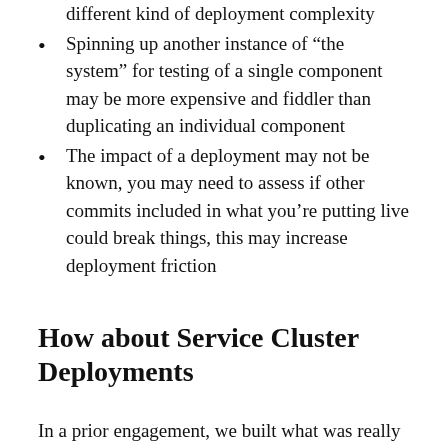deployment me being at fault, but that's a different kind of deployment complexity
Spinning up another instance of “the system” for testing of a single component may be more expensive and fiddler than duplicating an individual component
The impact of a deployment may not be known, you may need to assess if other commits included in what you’re putting live could break things, this may increase deployment friction
How about Service Cluster Deployments
In a prior engagement, we built what was really